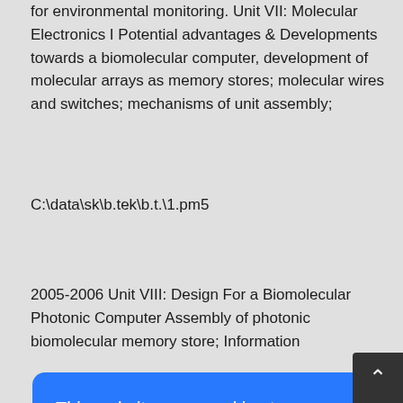for environmental monitoring. Unit VII: Molecular Electronics I Potential advantages & Developments towards a biomolecular computer, development of molecular arrays as memory stores; molecular wires and switches; mechanisms of unit assembly;
C:\data\sk\b.tek\b.t.\1.pm5
2005-2006 Unit VIII: Design For a Biomolecular Photonic Computer Assembly of photonic biomolecular memory store; Information
[Figure (screenshot): Cookie consent overlay dialog with blue background. Text reads: 'This website uses cookies to ensure you get the best experience on our website. Our partners will collect data and use cookies for ad personalization and measurement. Learn how we and our partners collect and use data.' with an OK button.]